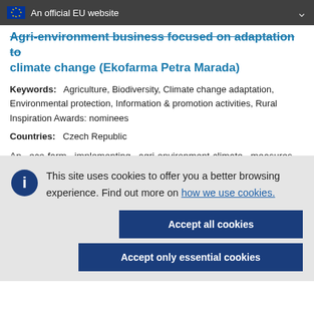An official EU website
Agri-environment business focused on adaptation to climate change (Ekofarma Petra Marada)
Keywords: Agriculture, Biodiversity, Climate change adaptation, Environmental protection, Information & promotion activities, Rural Inspiration Awards: nominees
Countries: Czech Republic
An eco-farm implementing agri-environment-climate measures
This site uses cookies to offer you a better browsing experience. Find out more on how we use cookies.
Accept all cookies
Accept only essential cookies